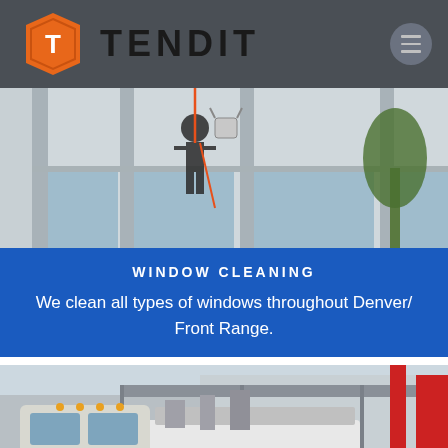[Figure (logo): Tendit company logo with orange hexagon containing letter T and bold TENDIT text in dark color, on dark gray header bar with hamburger menu icon on right]
[Figure (photo): Window cleaning worker rappelling on side of a glass commercial building, cleaning windows, with orange rope visible]
WINDOW CLEANING
We clean all types of windows throughout Denver/ Front Range.
[Figure (photo): Large commercial truck with equipment for window cleaning or maintenance services, parked in front of industrial building]